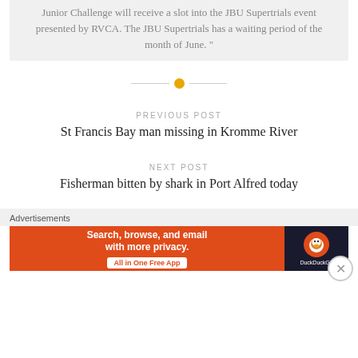Junior Challenge will receive a slot into the JBU Supertrials event presented by RVCA. The JBU Supertrials has a waiting period of the month of June. "
PREVIOUS POST
St Francis Bay man missing in Kromme River
NEXT POST
Fisherman bitten by shark in Port Alfred today
Advertisements
[Figure (other): DuckDuckGo advertisement banner: orange left panel with text 'Search, browse, and email with more privacy. All in One Free App' and dark right panel with DuckDuckGo logo]